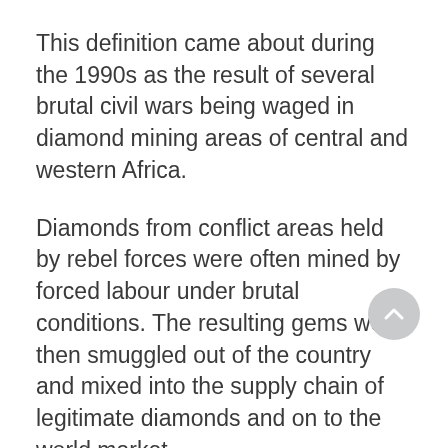This definition came about during the 1990s as the result of several brutal civil wars being waged in diamond mining areas of central and western Africa.
Diamonds from conflict areas held by rebel forces were often mined by forced labour under brutal conditions. The resulting gems were then smuggled out of the country and mixed into the supply chain of legitimate diamonds and on to the world market.
Once a conflict diamond has been cut and polished, it is identical to any other natural diamond. Publicity about the matter raised public awareness and revulsion to the idea that their precious diamonds were tainted with slave labour and blood. In turn, this led to a groundswell consumer reaction against conflict diamonds and the businesses and